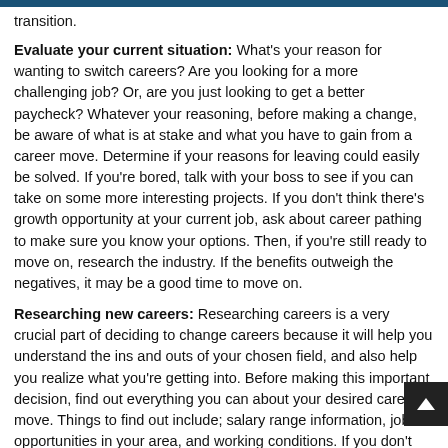transition.
Evaluate your current situation: What's your reason for wanting to switch careers? Are you looking for a more challenging job? Or, are you just looking to get a better paycheck? Whatever your reasoning, before making a change, be aware of what is at stake and what you have to gain from a career move. Determine if your reasons for leaving could easily be solved. If you're bored, talk with your boss to see if you can take on some more interesting projects. If you don't think there's growth opportunity at your current job, ask about career pathing to make sure you know your options. Then, if you're still ready to move on, research the industry. If the benefits outweigh the negatives, it may be a good time to move on.
Researching new careers: Researching careers is a very crucial part of deciding to change careers because it will help you understand the ins and outs of your chosen field, and also help you realize what you're getting into. Before making this important decision, find out everything you can about your desired career move. Things to find out include; salary range information, job opportunities in your area, and working conditions. If you don't want to relocate, you want make sure your area has growth opportunity for the industry you're interested in. You can also check the U.S. Bureau of Labor Statistics'